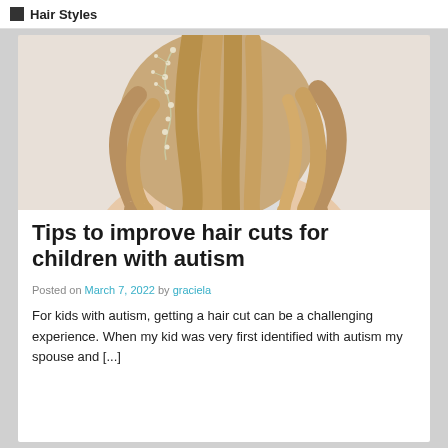Hair Styles
[Figure (photo): Woman with long wavy blonde hair with decorative floral hair vine accessory, viewed from behind, wearing a beaded dress]
Tips to improve hair cuts for children with autism
Posted on March 7, 2022 by graciela
For kids with autism, getting a hair cut can be a challenging experience. When my kid was very first identified with autism my spouse and [...]